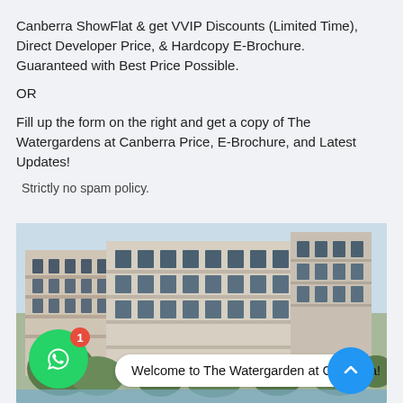Canberra ShowFlat & get VVIP Discounts (Limited Time), Direct Developer Price, & Hardcopy E-Brochure. Guaranteed with Best Price Possible.
OR
Fill up the form on the right and get a copy of The Watergardens at Canberra Price, E-Brochure, and Latest Updates!
Strictly no spam policy.
[Figure (photo): Exterior rendering of The Watergardens at Canberra residential development showing multi-storey apartment buildings with balconies, greenery, and landscaping. A WhatsApp button with badge showing '1' and a chat bubble saying 'Welcome to The Watergarden at Canberra!' overlay the bottom of the image.]